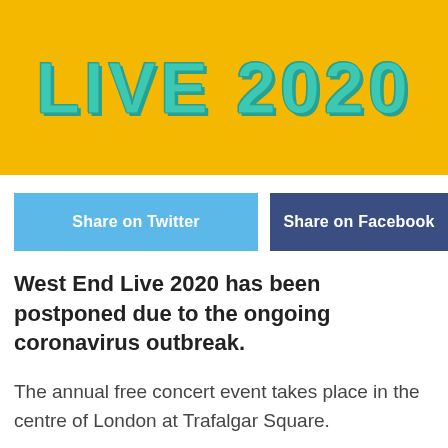[Figure (illustration): Yellow banner with 'LIVE 2020' text in teal/turquoise bold letters with shadow effect]
Share on Twitter
Share on Facebook
West End Live 2020 has been postponed due to the ongoing coronavirus outbreak.
The annual free concert event takes place in the centre of London at Trafalgar Square.
ADVERTISEMENTS